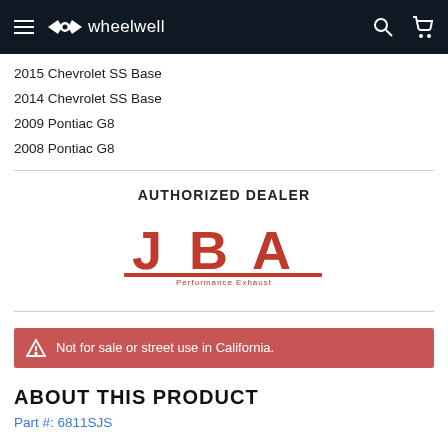wheelwell navigation bar
2015 Chevrolet SS Base
2014 Chevrolet SS Base
2009 Pontiac G8
2008 Pontiac G8
AUTHORIZED DEALER
[Figure (logo): JBA Performance Exhaust logo in red]
Not for sale or street use in California.
ABOUT THIS PRODUCT
Part #: 6811SJS